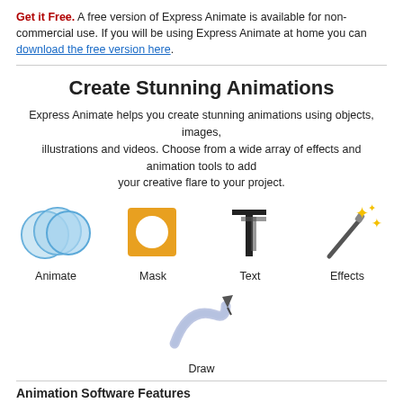Get it Free. A free version of Express Animate is available for non-commercial use. If you will be using Express Animate at home you can download the free version here.
Create Stunning Animations
Express Animate helps you create stunning animations using objects, images, illustrations and videos. Choose from a wide array of effects and animation tools to add your creative flare to your project.
[Figure (illustration): Four icons in a row: Animate (overlapping blue circles), Mask (orange square with white circle), Text (letter T icon), Effects (magic wand with sparks)]
[Figure (illustration): Draw icon showing a pen/stylus with a blue swoosh line]
Animation Software Features
Add video and image files to your movie canvas